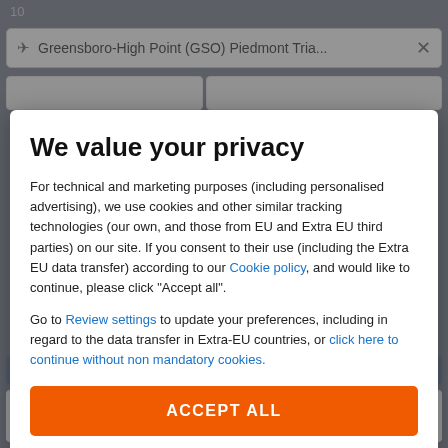[Figure (screenshot): Background UI showing airport search bar with 'Greensboro-High Point (GSO) Piedmont Tria...' and an X close button, partially obscured by a privacy consent modal dialog.]
We value your privacy
For technical and marketing purposes (including personalised advertising), we use cookies and other similar tracking technologies (our own, and those from EU and Extra EU third parties) on our site. If you consent to their use (including the Extra EU data transfer) according to our Cookie policy, and would like to continue, please click "Accept all".
Go to Review settings to update your preferences, including in regard to the data transfer in Extra-EU countries, or click here to continue without non mandatory cookies.
ACCEPT ALL